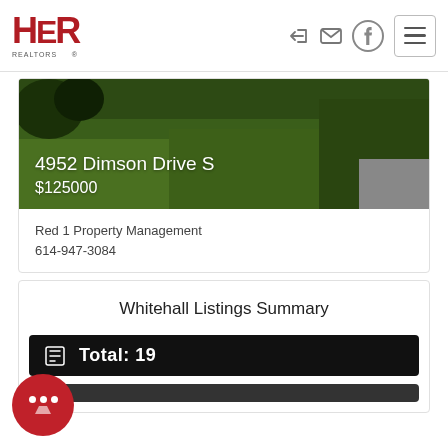[Figure (logo): HER Realtors logo in red with REALTORS text below]
4952 Dimson Drive S
$125000
Red 1 Property Management
614-947-3084
Whitehall Listings Summary
Total: 19